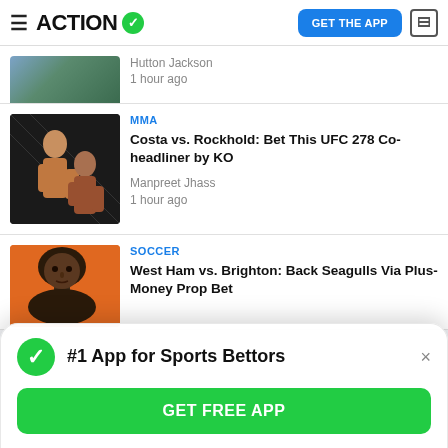ACTION — GET THE APP
[Figure (screenshot): Partial article thumbnail showing sports action image]
Hutton Jackson
1 hour ago
MMA
[Figure (photo): MMA fight thumbnail showing two fighters]
Costa vs. Rockhold: Bet This UFC 278 Co-headliner by KO
Manpreet Jhass
1 hour ago
SOCCER
[Figure (photo): Soccer player face close-up thumbnail]
West Ham vs. Brighton: Back Seagulls Via Plus-Money Prop Bet
#1 App for Sports Bettors
GET FREE APP